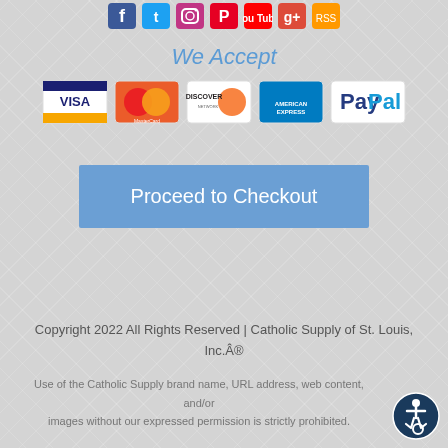[Figure (illustration): Social media icons row: Facebook, Twitter, Instagram, Pinterest, YouTube, Google+, and another icon]
We Accept
[Figure (illustration): Payment method logos: Visa, MasterCard, Discover, American Express, PayPal]
Proceed to Checkout
Copyright 2022 All Rights Reserved | Catholic Supply of St. Louis, Inc.Â®
Use of the Catholic Supply brand name, URL address, web content, and/or images without our expressed permission is strictly prohibited.
[Figure (illustration): Accessibility icon - wheelchair user symbol in dark blue circle]